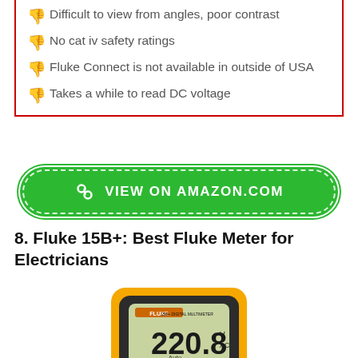Difficult to view from angles, poor contrast
No cat iv safety ratings
Fluke Connect is not available in outside of USA
Takes a while to read DC voltage
[Figure (other): Green button linking to Amazon.com with chain-link icon and text VIEW ON AMAZON.COM]
8. Fluke 15B+: Best Fluke Meter for Electricians
[Figure (photo): Photo of a Fluke 15B+ digital multimeter showing 220.8 V AC on its display, yellow and dark grey housing]